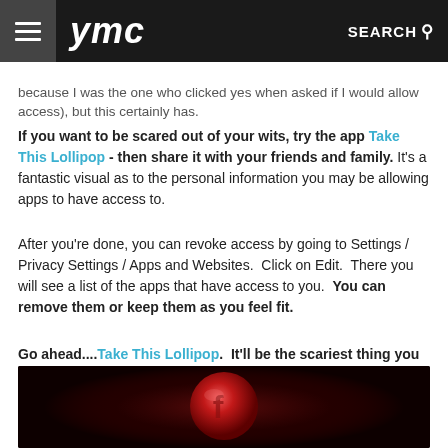YMC — SEARCH
because I was the one who clicked yes when asked if I would allow access), but this certainly has.
If you want to be scared out of your wits, try the app Take This Lollipop - then share it with your friends and family. It's a fantastic visual as to the personal information you may be allowing apps to have access to.
After you're done, you can revoke access by going to Settings / Privacy Settings / Apps and Websites.  Click on Edit.  There you will see a list of the apps that have access to you.  You can remove them or keep them as you feel fit.
Go ahead....Take This Lollipop.  It'll be the scariest thing you experience this Halloween - I guarantee it.
[Figure (photo): Dark background with a glowing red translucent lollipop featuring a Facebook logo embedded in it, atmospheric Halloween-themed image]